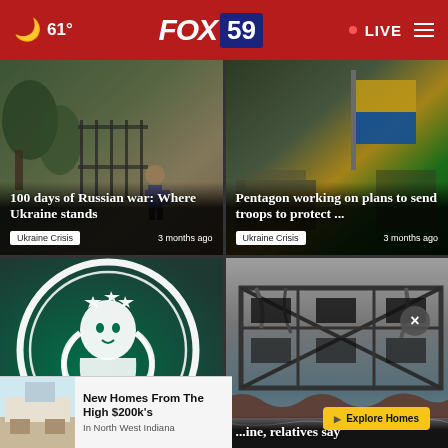61° FOX 59 · LIVE
[Figure (photo): News card: 100 days of Russian war: Where Ukraine stands - Ukraine Crisis, 3 months ago]
[Figure (photo): News card: Pentagon working on plans to send troops to protect ... - Ukraine Crisis, 3 months ago]
[Figure (photo): News card: Starbucks leaving Rus... shu... stores - Starbucks logo on green background]
[Figure (photo): News card: ...ine, relatives say - destroyed building]
[Figure (screenshot): Ad banner: New Homes From The High $200k's In North West Indiana - Explore Homes]